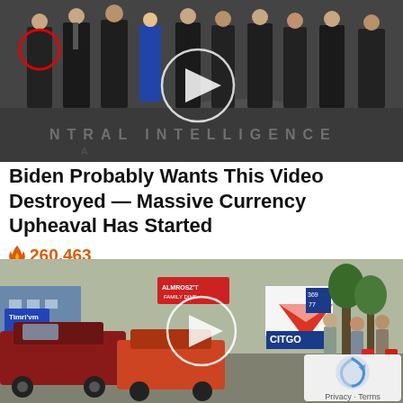[Figure (photo): Photo of a group of people in dark suits standing in front of the CIA logo on the floor. A red circle highlights one person on the left. A white play button circle is overlaid in the center of the image.]
Biden Probably Wants This Video Destroyed — Massive Currency Upheaval Has Started
🔥 260,463
[Figure (photo): Photo of cars lined up at a gas station with a Citgo sign visible. People are walking around, one carrying red gas cans. A white play button circle is overlaid in the center. A reCAPTCHA privacy badge is visible in the bottom right corner with text 'Privacy - Terms'.]